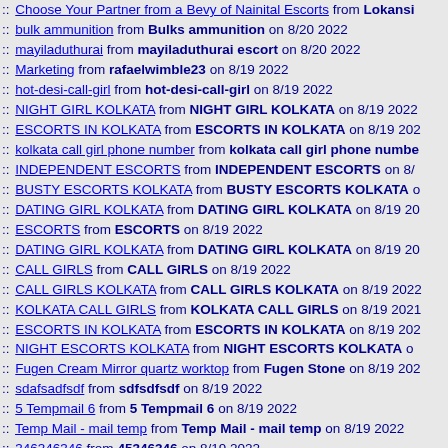:: Choose Your Partner from a Bevy of Nainital Escorts from Lokansi...
:: bulk ammunition from Bulks ammunition on 8/20 2022
:: mayiladuthurai from mayiladuthurai escort on 8/20 2022
:: Marketing from rafaelwimble23 on 8/19 2022
:: hot-desi-call-girl from hot-desi-call-girl on 8/19 2022
:: NIGHT GIRL KOLKATA from NIGHT GIRL KOLKATA on 8/19 2022
:: ESCORTS IN KOLKATA from ESCORTS IN KOLKATA on 8/19 202...
:: kolkata call girl phone number from kolkata call girl phone numbe...
:: INDEPENDENT ESCORTS from INDEPENDENT ESCORTS on 8/...
:: BUSTY ESCORTS KOLKATA from BUSTY ESCORTS KOLKATA o...
:: DATING GIRL KOLKATA from DATING GIRL KOLKATA on 8/19 20...
:: ESCORTS from ESCORTS on 8/19 2022
:: DATING GIRL KOLKATA from DATING GIRL KOLKATA on 8/19 20...
:: CALL GIRLS from CALL GIRLS on 8/19 2022
:: CALL GIRLS KOLKATA from CALL GIRLS KOLKATA on 8/19 2022...
:: KOLKATA CALL GIRLS from KOLKATA CALL GIRLS on 8/19 2021...
:: ESCORTS IN KOLKATA from ESCORTS IN KOLKATA on 8/19 202...
:: NIGHT ESCORTS KOLKATA from NIGHT ESCORTS KOLKATA o...
:: Fugen Cream Mirror quartz worktop from Fugen Stone on 8/19 202...
:: sdafsadfsdf from sdfsdfsdf on 8/19 2022
:: 5 Tempmail 6 from 5 Tempmail 6 on 8/19 2022
:: Temp Mail - mail temp from Temp Mail - mail temp on 8/19 2022
:: 346346346 from 45346346 on 8/19 2022
:: emi from sophie turner on 8/19 2022
:: Karachi Call Girls from Karachi Call Girls on 8/19 2022
Escorts Provider from Call Girls Services in Lahore on 8/20 2...
:: Call Girls in Islamabad from Call Girls in Islamabad on 8/19 2022
:: Lahore Call Girls from Lahore Call Girls on 8/19 2022
:: online matka play from Misha Jain on 8/19 2022
:: Jumbo from Ashik on 8/19 2022
:: ...from Misha Jain on 8/19 2022